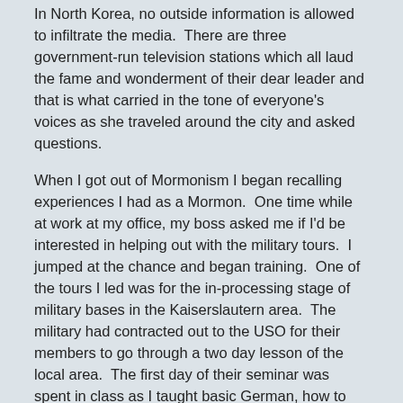In North Korea, no outside information is allowed to infiltrate the media.  There are three government-run television stations which all laud the fame and wonderment of their dear leader and that is what carried in the tone of everyone's voices as she traveled around the city and asked questions.
When I got out of Mormonism I began recalling experiences I had as a Mormon.  One time while at work at my office, my boss asked me if I'd be interested in helping out with the military tours.  I jumped at the chance and began training.  One of the tours I led was for the in-processing stage of military bases in the Kaiserslautern area.  The military had contracted out to the USO for their members to go through a two day lesson of the local area.  The first day of their seminar was spent in class as I taught basic German, how to ride the trains in Europe, how to use phones, order food, how to get a driver's license, basics of the customs, laws, etc.  The next day I would take them on the economy via buses and trains for hands on training.  It was a cool job!
One of the places I would have to take them to would be the